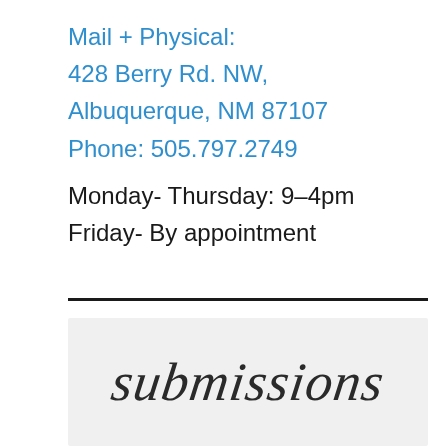Mail + Physical:
428 Berry Rd. NW,
Albuquerque, NM 87107
Phone: 505.797.2749
Monday- Thursday: 9-4pm
Friday- By appointment
[Figure (illustration): Decorative script/calligraphy image showing the word 'submissions' in cursive handwriting on a light grey background]